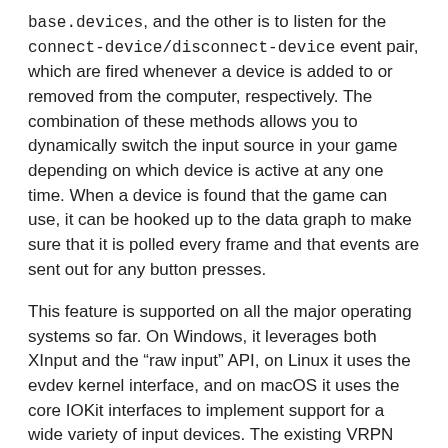base.devices, and the other is to listen for the connect-device/disconnect-device event pair, which are fired whenever a device is added to or removed from the computer, respectively. The combination of these methods allows you to dynamically switch the input source in your game depending on which device is active at any one time. When a device is found that the game can use, it can be hooked up to the data graph to make sure that it is polled every frame and that events are sent out for any button presses.
This feature is supported on all the major operating systems so far. On Windows, it leverages both XInput and the “raw input” API, on Linux it uses the evdev kernel interface, and on macOS it uses the core IOKit interfaces to implement support for a wide variety of input devices. The existing VRPN interfaces have been integrated with the new abstractions as well.